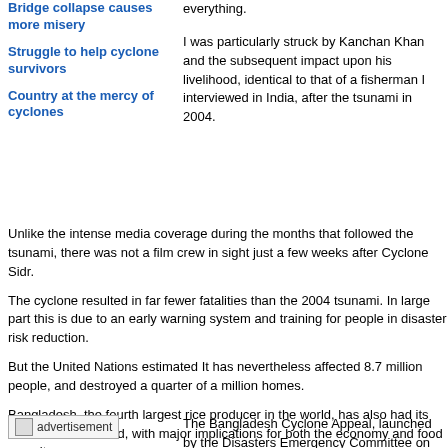Bridge collapse causes more misery
Struggle to help cyclone survivors
Country at the mercy of cyclones
everything.
I was particularly struck by Kanchan Khan and the subsequent impact upon his livelihood, identical to that of a fisherman I interviewed in India, after the tsunami in 2004.
Unlike the intense media coverage during the months that followed the tsunami, there was not a film crew in sight just a few weeks after Cyclone Sidr.
The cyclone resulted in far fewer fatalities than the 2004 tsunami. In large part this is due to an early warning system and training for people in disaster risk reduction.
But the United Nations estimated It has nevertheless affected 8.7 million people, and destroyed a quarter of a million homes.
Bangladesh, the fourth largest rice producer in the world, has also had its rice harvest affected, with major implications for both the economy and food security.
Local organizations such as the Resource Integration Center have been at the forefront of assistance, targeting older people in southern Bangladesh. Using its network of Older People Associations, it has identified the most urgent cases for support, and distributed blankets and foodstuffs.
Bill Gray, HelpAge International's Emergency Manager says: "It is essential that older people get the support they need themselves to recover and to play their vital part in the recovery of their families.
The next stage of rehabilitation from dependency to independence is crucial.
Some cyclone survivors have no possessions left, or the means with which to e
[Figure (other): advertisement placeholder image]
The Bangladesh Cyclone Appeal, launched by the Disasters Emergency Committee on November 22, i